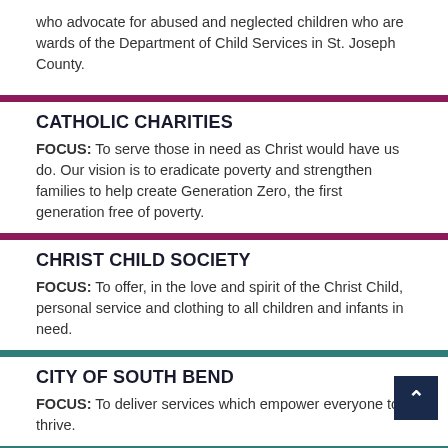who advocate for abused and neglected children who are wards of the Department of Child Services in St. Joseph County.
CATHOLIC CHARITIES
FOCUS: To serve those in need as Christ would have us do. Our vision is to eradicate poverty and strengthen families to help create Generation Zero, the first generation free of poverty.
CHRIST CHILD SOCIETY
FOCUS: To offer, in the love and spirit of the Christ Child, personal service and clothing to all children and infants in need.
CITY OF SOUTH BEND
FOCUS: To deliver services which empower everyone to thrive.
CLAY HIGH SCHOOL
FOCUS: Clay High School is South Bend's magnet high school for the arts. Located in an urban setting, the focus is to prepare the students for a successful transition to adult life.